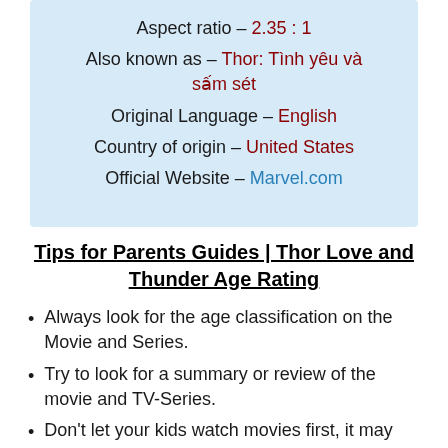Aspect ratio – 2.35 : 1
Also known as – Thor: Tình yêu và sấm sét
Original Language – English
Country of origin – United States
Official Website – Marvel.com
Tips for Parents Guides | Thor Love and Thunder Age Rating
Always look for the age classification on the Movie and Series.
Try to look for a summary or review of the movie and TV-Series.
Don't let your kids watch movies first, it may